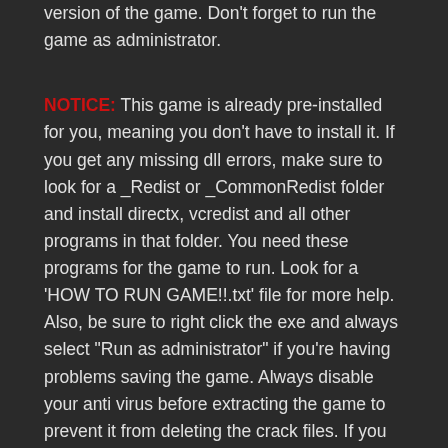Outlaw Free Download with direct link. It is the full version of the game. Don't forget to run the game as administrator.
NOTICE: This game is already pre-installed for you, meaning you don't have to install it. If you get any missing dll errors, make sure to look for a _Redist or _CommonRedist folder and install directx, vcredist and all other programs in that folder. You need these programs for the game to run. Look for a 'HOW TO RUN GAME!!.txt' file for more help. Also, be sure to right click the exe and always select "Run as administrator" if you're having problems saving the game. Always disable your anti virus before extracting the game to prevent it from deleting the crack files. If you need additional help, click here